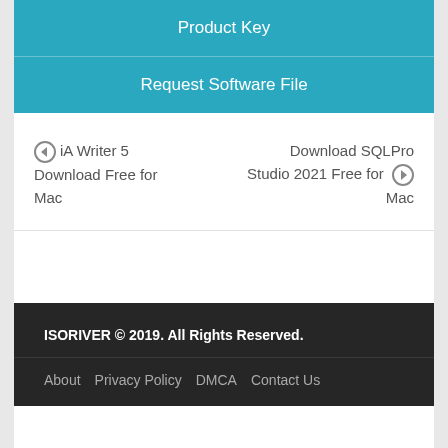Product Key
Request Software File
iA Writer 5 Download Free for Mac
Download SQLPro Studio 2021 Free for Mac
ISORIVER © 2019. All Rights Reserved.
About  Privacy Policy  DMCA  Contact Us